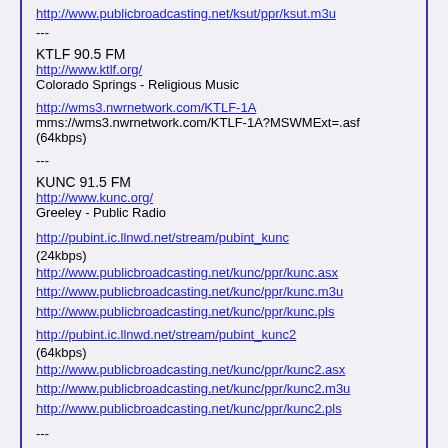http://www.publicbroadcasting.net/ksut/ppr/ksut.m3u
---
KTLF 90.5 FM
http://www.ktlf.org/
Colorado Springs - Religious Music
http://wms3.nwrnetwork.com/KTLF-1A
mms://wms3.nwrnetwork.com/KTLF-1A?MSWMExt=.asf
(64kbps)
---
KUNC 91.5 FM
http://www.kunc.org/
Greeley - Public Radio
http://pubint.ic.llnwd.net/stream/pubint_kunc (24kbps)
http://www.publicbroadcasting.net/kunc/ppr/kunc.asx
http://www.publicbroadcasting.net/kunc/ppr/kunc.m3u
http://www.publicbroadcasting.net/kunc/ppr/kunc.pls
http://pubint.ic.llnwd.net/stream/pubint_kunc2 (64kbps)
http://www.publicbroadcasting.net/kunc/ppr/kunc2.asx
http://www.publicbroadcasting.net/kunc/ppr/kunc2.m3u
http://www.publicbroadcasting.net/kunc/ppr/kunc2.pls
---
KUNC 90.9 FM